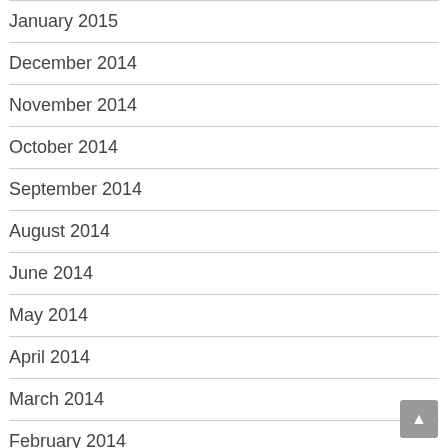January 2015
December 2014
November 2014
October 2014
September 2014
August 2014
June 2014
May 2014
April 2014
March 2014
February 2014